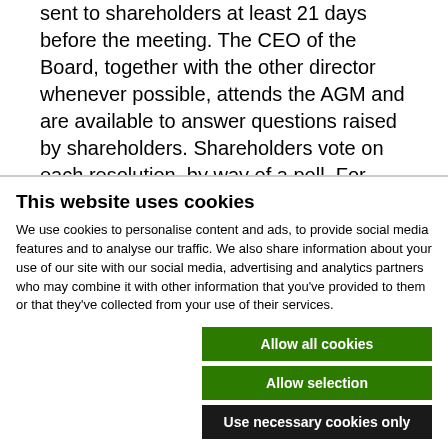sent to shareholders at least 21 days before the meeting. The CEO of the Board, together with the other director whenever possible, attends the AGM and are available to answer questions raised by shareholders. Shareholders vote on each resolution, by way of a poll. For
This website uses cookies
We use cookies to personalise content and ads, to provide social media features and to analyse our traffic. We also share information about your use of our site with our social media, advertising and analytics partners who may combine it with other information that you've provided to them or that they've collected from your use of their services.
Allow all cookies
Allow selection
Use necessary cookies only
Necessary   Preferences   Statistics   Marketing   Show details